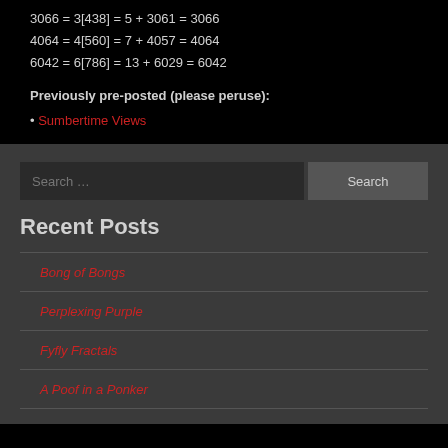Previously pre-posted (please peruse):
Sumbertime Views
Recent Posts
Bong of Bongs
Perplexing Purple
Fyfly Fractals
A Poof in a Ponker